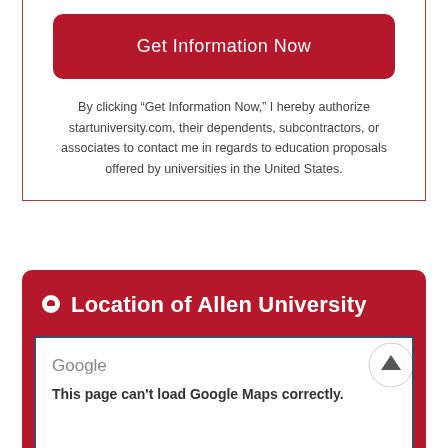[Figure (other): Red rounded rectangle button labeled 'Get Information Now']
By clicking “Get Information Now,” I hereby authorize startuniversity.com, their dependents, subcontractors, or associates to contact me in regards to education proposals offered by universities in the United States.
Location of Allen University
[Figure (other): Google Maps embed showing error: 'This page can't load Google Maps correctly.']